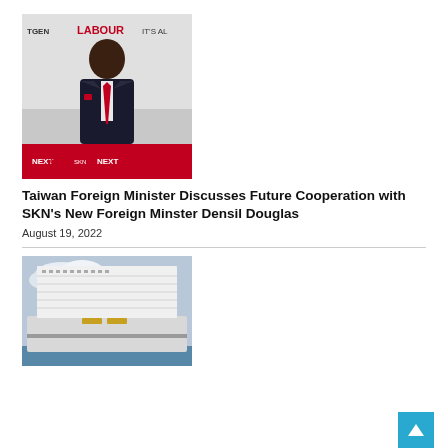[Figure (photo): Man in dark suit with red tie seated in front of a NextGen SKN Labour party banner backdrop]
Taiwan Foreign Minister Discusses Future Cooperation with SKN's New Foreign Minster Densil Douglas
August 19, 2022
[Figure (photo): Large white cruise ship at port under a cloudy sky]